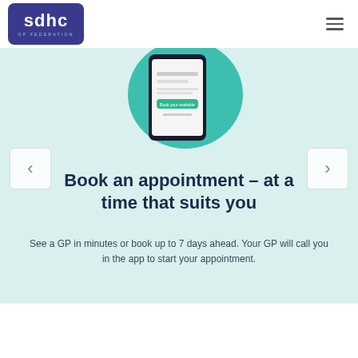[Figure (logo): SDHC GP Federation logo — dark blue rectangle with white bold 'sdhc' text and 'GP FEDERATION' subtitle in light blue]
[Figure (screenshot): Partial mobile phone screenshot showing a healthcare app with teal/mint circular background and dark phone frame with green 'Book your available' button]
Book an appointment – at a time that suits you
See a GP in minutes or book up to 7 days ahead. Your GP will call you in the app to start your appointment.